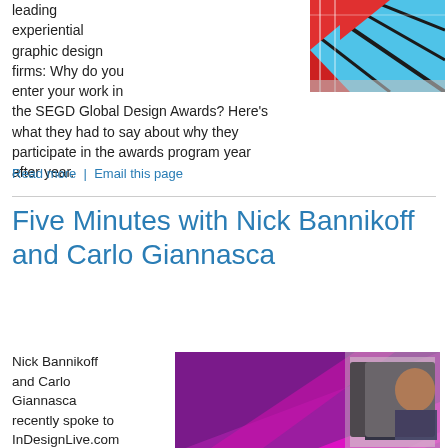leading experiential graphic design firms: Why do you enter your work in the SEGD Global Design Awards? Here's what they had to say about why they participate in the awards program year after year.
[Figure (photo): Colorful geometric graphic design installation with red, blue and white angular shapes]
Read more  |  Email this page
Five Minutes with Nick Bannikoff and Carlo Giannasca
Nick Bannikoff and Carlo Giannasca recently spoke to InDesignLive.com about why they're on a
[Figure (photo): Purple escalator installation with inset headshots of Nick Bannikoff and Carlo Giannasca]